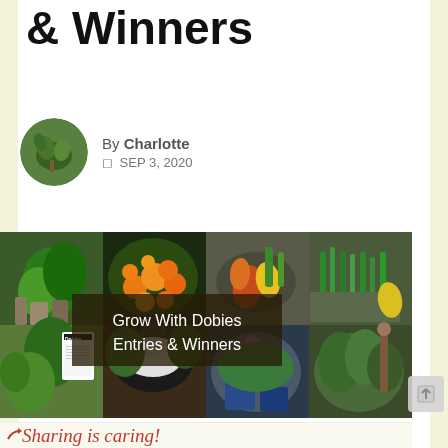& Winners
By Charlotte
SEP 3, 2020
[Figure (photo): Collage of garden photos showing potted plants, marigolds, harvested vegetables, herbs, a black and white cat, flowering plants in containers, and a garden with various plants. Overlaid text reads: Grow With Dobies Entries & Winners]
Sharing is caring!